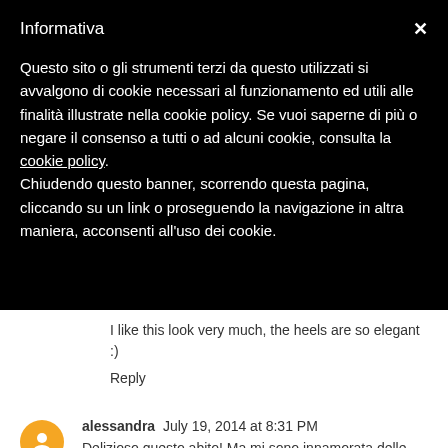Informativa
Questo sito o gli strumenti terzi da questo utilizzati si avvalgono di cookie necessari al funzionamento ed utili alle finalità illustrate nella cookie policy. Se vuoi saperne di più o negare il consenso a tutti o ad alcuni cookie, consulta la cookie policy. Chiudendo questo banner, scorrendo questa pagina, cliccando su un link o proseguendo la navigazione in altra maniera, acconsenti all'uso dei cookie.
I like this look very much, the heels are so elegant :)
Reply
alessandra  July 19, 2014 at 8:31 PM
Delizioso questo abito! Ma mi sono innamorata delle scarpe! www.alessandrastyle.com
Reply